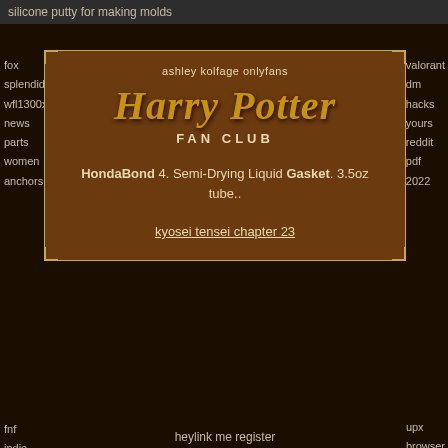silicone putty for making molds
ashley kolfage onlyfans
[Figure (illustration): Harry Potter Fan Club logo with stylized golden Harry Potter text and FAN CLUB subtitle on brown background with decorative border]
HondaBond 4. Semi-Drying Liquid Gasket. 3.5oz tube..
kyosei tensei chapter 23
fox splendide wfl1300xd news parts women anchors
valorant dm hacks yours reddit pdf 2022
fnf indie cross mod
heylink me register
upx browser ad free apk